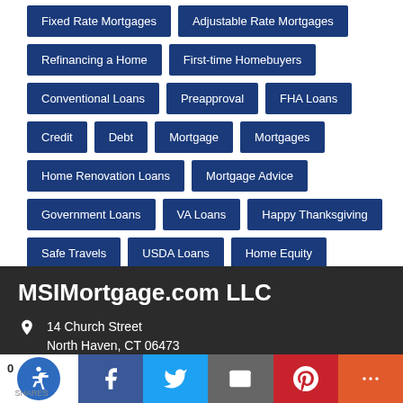Fixed Rate Mortgages
Adjustable Rate Mortgages
Refinancing a Home
First-time Homebuyers
Conventional Loans
Preapproval
FHA Loans
Credit
Debt
Mortgage
Mortgages
Home Renovation Loans
Mortgage Advice
Government Loans
VA Loans
Happy Thanksgiving
Safe Travels
USDA Loans
Home Equity
Reverse Mortgage
MSIMortgage.com LLC
14 Church Street
North Haven, CT 06473
203-985-4444